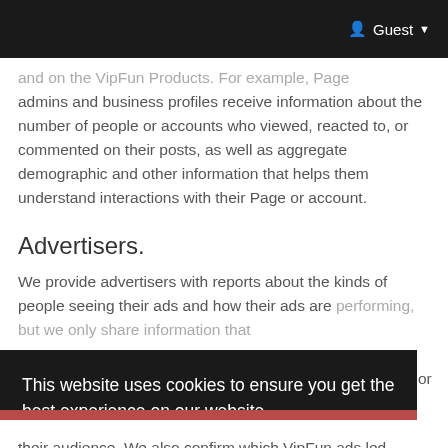Guest
and on the VipFun Products. For example, Page admins and business profiles receive information about the number of people or accounts who viewed, reacted to, or commented on their posts, as well as aggregate demographic and other information that helps them understand interactions with their Page or account.
Advertisers.
We provide advertisers with reports about the kinds of people seeing their ads and how their ads are performing, but we only share information that
This website uses cookies to ensure you get the best experience on our website.
Learn More
Got It!
their audience. We also confirm which VipFun ads led